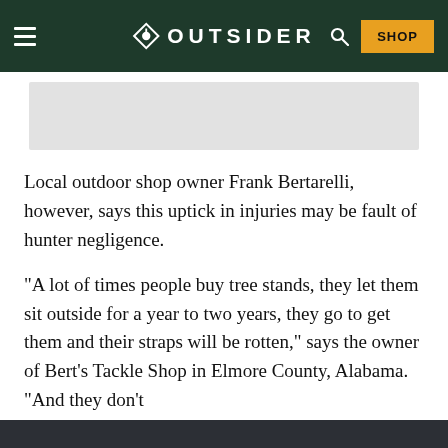OUTSIDER — navigation bar with menu, logo, search, and SHOP button
[Figure (photo): Gray image placeholder area beneath the navigation bar]
Local outdoor shop owner Frank Bertarelli, however, says this uptick in injuries may be fault of hunter negligence.
“A lot of times people buy tree stands, they let them sit outside for a year to two years, they go to get them and their straps will be rotten,” says the owner of Bert’s Tackle Shop in Elmore County, Alabama.  “And they don’t